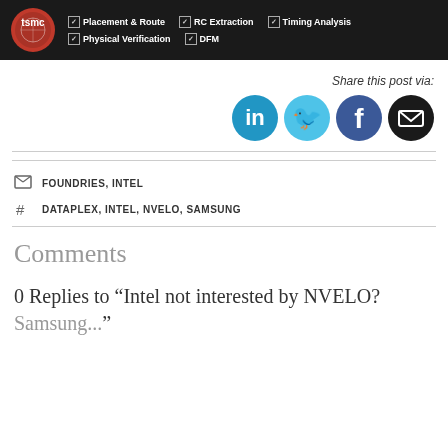[Figure (logo): TSMC banner with logo and EDA tool categories: Placement & Route, RC Extraction, Timing Analysis, Physical Verification, DFM]
Share this post via:
[Figure (infographic): Social share icons: LinkedIn (blue), Twitter (light blue), Facebook (dark blue), Email (black)]
FOUNDRIES, INTEL
DATAPLEX, INTEL, NVELO, SAMSUNG
Comments
0 Replies to “Intel not interested by NVELO?